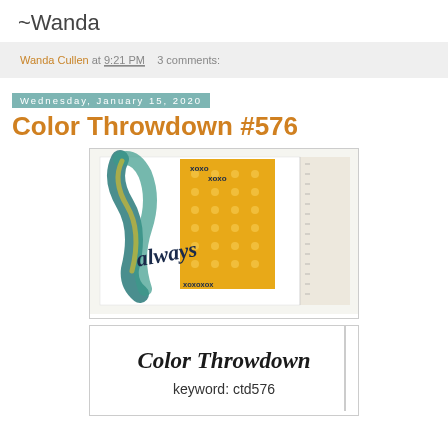~Wanda
Wanda Cullen at 9:21 PM   3 comments:
Wednesday, January 15, 2020
Color Throwdown #576
[Figure (photo): Close-up of a handmade card featuring teal/turquoise ribbon and script lettering 'always' on a yellow polka-dot background with xoxo pattern]
[Figure (photo): Color Throwdown card with script title and keyword ctd576]